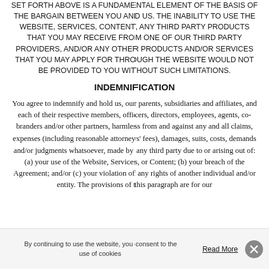SET FORTH ABOVE IS A FUNDAMENTAL ELEMENT OF THE BASIS OF THE BARGAIN BETWEEN YOU AND US. THE INABILITY TO USE THE WEBSITE, SERVICES, CONTENT, ANY THIRD PARTY PRODUCTS THAT YOU MAY RECEIVE FROM ONE OF OUR THIRD PARTY PROVIDERS, AND/OR ANY OTHER PRODUCTS AND/OR SERVICES THAT YOU MAY APPLY FOR THROUGH THE WEBSITE WOULD NOT BE PROVIDED TO YOU WITHOUT SUCH LIMITATIONS.
INDEMNIFICATION
You agree to indemnify and hold us, our parents, subsidiaries and affiliates, and each of their respective members, officers, directors, employees, agents, co-branders and/or other partners, harmless from and against any and all claims, expenses (including reasonable attorneys' fees), damages, suits, costs, demands and/or judgments whatsoever, made by any third party due to or arising out of: (a) your use of the Website, Services, or Content; (b) your breach of the Agreement; and/or (c) your violation of any rights of another individual and/or entity. The provisions of this paragraph are for our
By continuing to use the website, you consent to the use of cookies
Read More